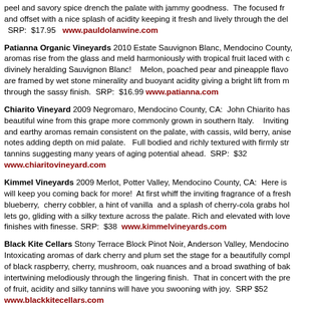peel and savory spice drench the palate with jammy goodness. The focused fr and offset with a nice splash of acidity keeping it fresh and lively through the del SRP: $17.95 www.pauldolanwine.com
Patianna Organic Vineyards 2010 Estate Sauvignon Blanc, Mendocino County aromas rise from the glass and meld harmoniously with tropical fruit laced with c divinely heralding Sauvignon Blanc! Melon, poached pear and pineapple flavo are framed by wet stone minerality and buoyant acidity giving a bright lift from m through the sassy finish. SRP: $16.99 www.patianna.com
Chiarito Vineyard 2009 Negromaro, Mendocino County, CA: John Chiarito has beautiful wine from this grape more commonly grown in southern Italy. Inviting and earthy aromas remain consistent on the palate, with cassis, wild berry, anise notes adding depth on mid palate. Full bodied and richly textured with firmly str tannins suggesting many years of aging potential ahead. SRP: $32 www.chiaritovineyard.com
Kimmel Vineyards 2009 Merlot, Potter Valley, Mendocino County, CA: Here is will keep you coming back for more! At first whiff the inviting fragrance of a fresh blueberry, cherry cobbler, a hint of vanilla and a splash of cherry-cola grabs hol lets go, gliding with a silky texture across the palate. Rich and elevated with love finishes with finesse. SRP: $38 www.kimmelvineyards.com
Black Kite Cellars Stony Terrace Block Pinot Noir, Anderson Valley, Mendocino Intoxicating aromas of dark cherry and plum set the stage for a beautifully compl of black raspberry, cherry, mushroom, oak nuances and a broad swathing of bak intertwining melodiously through the lingering finish. That in concert with the pre of fruit, acidity and silky tannins will have you swooning with joy. SRP $52 www.blackkitecellars.com
McNab Ridge 2009 Family Reserve Cononiah Vineyards Zinfandel, Mendocino Wow, the alluring aromatics are intoxicating on their own, but move on into the g more satisfaction! Juicy plums, black raspberries and chocolate covered cherries